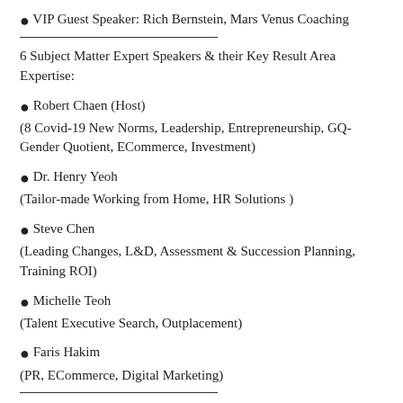VIP Guest Speaker: Rich Bernstein, Mars Venus Coaching
6 Subject Matter Expert Speakers & their Key Result Area Expertise:
Robert Chaen (Host)
(8 Covid-19 New Norms, Leadership, Entrepreneurship, GQ-Gender Quotient, ECommerce, Investment)
Dr. Henry Yeoh
(Tailor-made Working from Home, HR Solutions )
Steve Chen
(Leading Changes, L&D, Assessment & Succession Planning, Training ROI)
Michelle Teoh
(Talent Executive Search, Outplacement)
Faris Hakim
(PR, ECommerce, Digital Marketing)